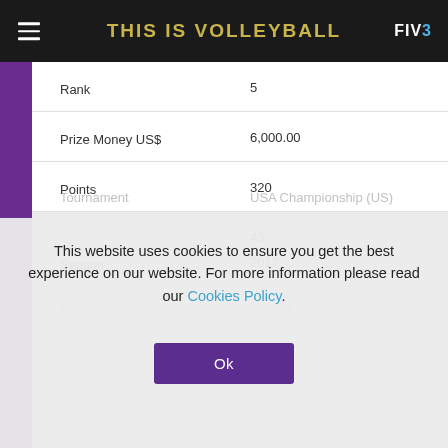THIS IS VOLLEYBALL
| Field | Value |
| --- | --- |
| Rank | 5 |
| Prize Money US$ | 6,000.00 |
| Points | 320 |
|  | 43 |
| Season | 2017 |
| Date | May 11 |
| Tournament | USA Championship (US) |
This website uses cookies to ensure you get the best experience on our website. For more information please read our Cookies Policy.
Ok